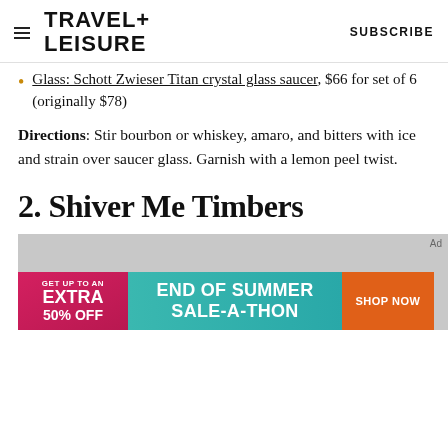TRAVEL+ LEISURE | SUBSCRIBE
Glass: Schott Zwieser Titan crystal glass saucer, $66 for set of 6 (originally $78)
Directions: Stir bourbon or whiskey, amaro, and bitters with ice and strain over saucer glass. Garnish with a lemon peel twist.
2. Shiver Me Timbers
[Figure (other): Gray advertisement placeholder with a colorful banner ad at the bottom reading 'GET UP TO AN EXTRA 50% OFF END OF SUMMER SALE-A-THON SHOP NOW']